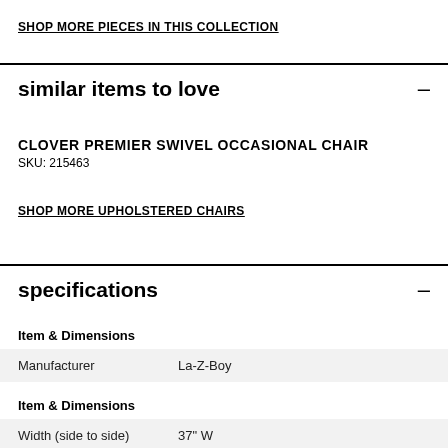SHOP MORE PIECES IN THIS COLLECTION
similar items to love
CLOVER PREMIER SWIVEL OCCASIONAL CHAIR
SKU: 215463
SHOP MORE UPHOLSTERED CHAIRS
specifications
| Item & Dimensions |  |
| --- | --- |
| Manufacturer | La-Z-Boy |
| Item & Dimensions |  |
| --- | --- |
| Width (side to side) | 37" W |
| Depth (front to | 37" D |